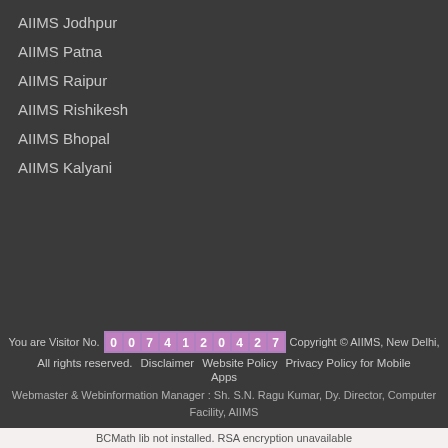AIIMS Jodhpur
AIIMS Patna
AIIMS Raipur
AIIMS Rishikesh
AIIMS Bhopal
AIIMS Kalyani
You are Visitor No. 007412042 7  Copyright © AIIMS, New Delhi, All rights reserved.  Disclaimer  Website Policy  Privacy Policy for Mobile Apps  Webmaster & Webinformation Manager : Sh. S.N. Ragu Kumar, Dy. Director, Computer Facility, AIIMS
BCMath lib not installed. RSA encryption unavailable